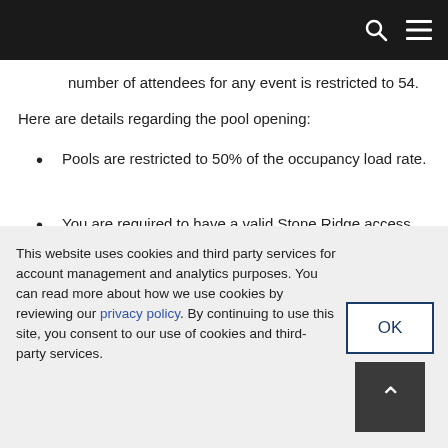[Navigation bar with search and menu icons]
number of attendees for any event is restricted to 54.
Here are details regarding the pool opening:
Pools are restricted to 50% of the occupancy load rate.
You are required to have a valid Stone Ridge access card in order to enter the pool area.
There will be no guests allowed.
This website uses cookies and third party services for account management and analytics purposes. You can read more about how we use cookies by reviewing our privacy policy. By continuing to use this site, you consent to our use of cookies and third-party services.